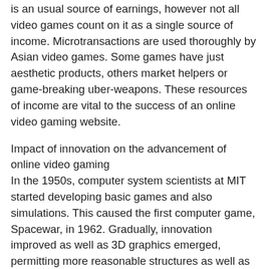is an usual source of earnings, however not all video games count on it as a single source of income. Microtransactions are used thoroughly by Asian video games. Some games have just aesthetic products, others market helpers or game-breaking uber-weapons. These resources of income are vital to the success of an online video gaming website.
Impact of innovation on the advancement of online video gaming
In the 1950s, computer system scientists at MIT started developing basic games and also simulations. This caused the first computer game, Spacewar, in 1962. Gradually, innovation improved as well as 3D graphics emerged, permitting more reasonable structures as well as much better in-game interactions. Increasingly complicated video games and unique effects have influenced on the internet video gaming. Today, there are greater than two million people signed up on gaming sites. This figure represents just a portion of the total number of on-line gamers.